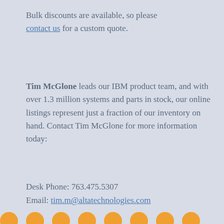Bulk discounts are available, so please contact us for a custom quote.
Tim McGlone leads our IBM product team, and with over 1.3 million systems and parts in stock, our online listings represent just a fraction of our inventory on hand. Contact Tim McGlone for more information today:
Desk Phone: 763.475.5307
Email: tim.m@altatechnologies.com
We also buy back your excess IBM Storage for cash or trade-in.